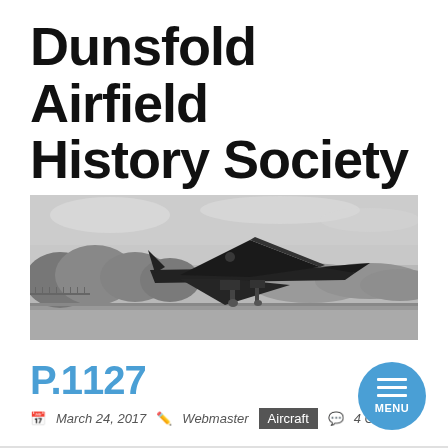Dunsfold Airfield History Society
[Figure (photo): Black and white photograph of a delta-wing jet aircraft (P.1127) on an airfield runway, with trees and hills in the background. The aircraft has a distinctive swept-wing design and appears to be taxiing or taking off.]
P.1127
March 24, 2017   Webmaster   Aircraft   4 Comments